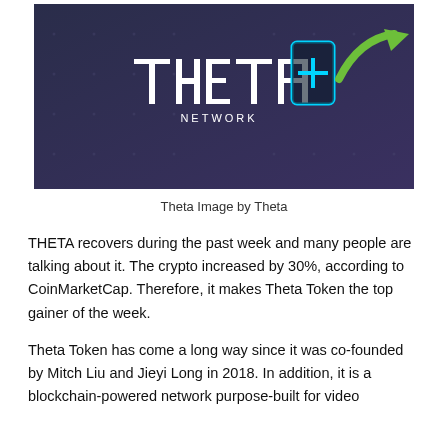[Figure (logo): Theta Network banner image with THETA NETWORK logo text in white on dark blue/purple background, with a green upward arrow and a cyan/blue phone icon with a plus symbol]
Theta Image by Theta
THETA recovers during the past week and many people are talking about it. The crypto increased by 30%, according to CoinMarketCap. Therefore, it makes Theta Token the top gainer of the week.
Theta Token has come a long way since it was co-founded by Mitch Liu and Jieyi Long in 2018. In addition, it is a blockchain-powered network purpose-built for video